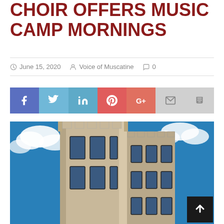CHOIR OFFERS MUSIC CAMP MORNINGS
June 15, 2020   Voice of Muscatine   0
[Figure (infographic): Social media sharing buttons: Facebook, Twitter, LinkedIn, Pinterest, Google+, Email, Print]
[Figure (photo): Upward-angle photograph of a historic Gothic-style stone building tower against a bright blue sky with white clouds]